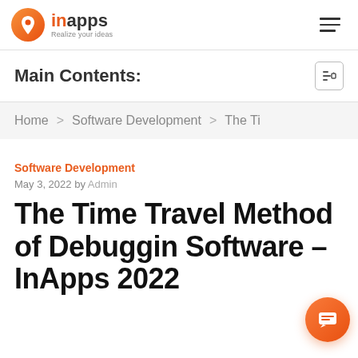inApps – Realize your ideas
Main Contents:
Home > Software Development > The Ti
Software Development
May 3, 2022 by Admin
The Time Travel Method of Debugging Software – InApps 2022